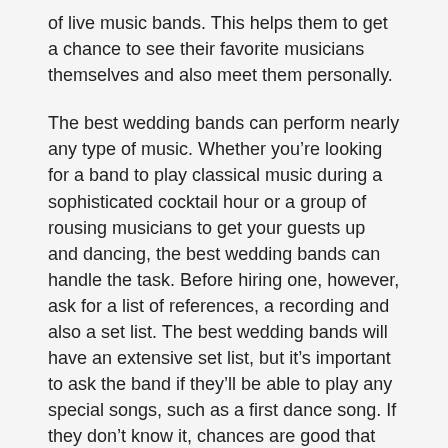of live music bands. This helps them to get a chance to see their favorite musicians themselves and also meet them personally.
The best wedding bands can perform nearly any type of music. Whether you’re looking for a band to play classical music during a sophisticated cocktail hour or a group of rousing musicians to get your guests up and dancing, the best wedding bands can handle the task. Before hiring one, however, ask for a list of references, a recording and also a set list. The best wedding bands will have an extensive set list, but it’s important to ask the band if they’ll be able to play any special songs, such as a first dance song. If they don’t know it, chances are good that they’ll be able to find the music and learn it before your event.